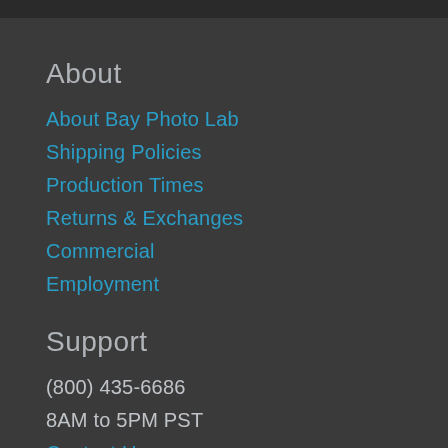About
About Bay Photo Lab
Shipping Policies
Production Times
Returns & Exchanges
Commercial
Employment
Support
(800) 435-6686
8AM to 5PM PST
Contact Us
Bay Photo Lab
920 Disc Drive